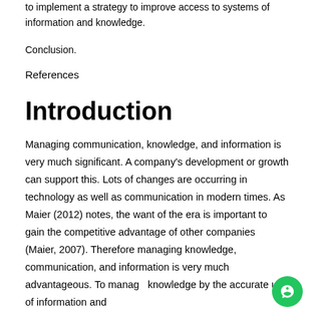to implement a strategy to improve access to systems of information and knowledge.
Conclusion.
References
Introduction
Managing communication, knowledge, and information is very much significant. A company's development or growth can support this. Lots of changes are occurring in technology as well as communication in modern times. As Maier (2012) notes, the want of the era is important to gain the competitive advantage of other companies (Maier, 2007). Therefore managing knowledge, communication, and information is very much advantageous. To manage knowledge by the accurate use of information and